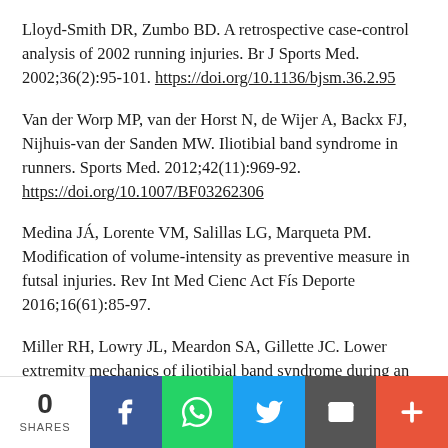Lloyd-Smith DR, Zumbo BD. A retrospective case-control analysis of 2002 running injuries. Br J Sports Med. 2002;36(2):95-101. https://doi.org/10.1136/bjsm.36.2.95
Van der Worp MP, van der Horst N, de Wijer A, Backx FJ, Nijhuis-van der Sanden MW. Iliotibial band syndrome in runners. Sports Med. 2012;42(11):969-92. https://doi.org/10.1007/BF03262306
Medina JÁ, Lorente VM, Salillas LG, Marqueta PM. Modification of volume-intensity as preventive measure in futsal injuries. Rev Int Med Cienc Act Fís Deporte 2016;16(61):85-97.
Miller RH, Lowry JL, Meardon SA, Gillette JC. Lower extremity mechanics of iliotibial band syndrome during an exhaustive run. Gait Posture. 2007;26(3):407-13. https://doi.org/10.1016/j.gaitpost.2006.10.007
0 SHARES [social share bar: Facebook, WhatsApp, Twitter, Email, More]